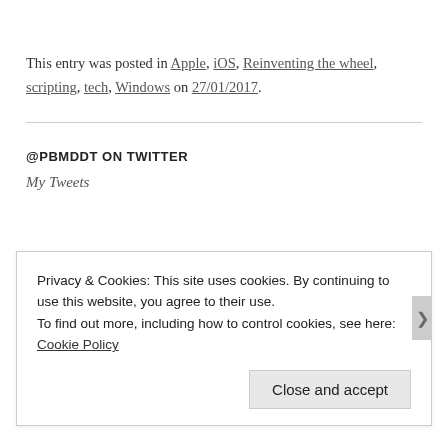This entry was posted in Apple, iOS, Reinventing the wheel, scripting, tech, Windows on 27/01/2017.
@PBMDDT ON TWITTER
My Tweets
Privacy & Cookies: This site uses cookies. By continuing to use this website, you agree to their use.
To find out more, including how to control cookies, see here: Cookie Policy